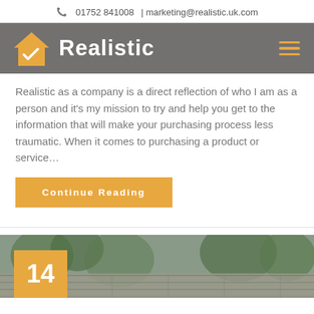01752 841008 | marketing@realistic.uk.com
[Figure (logo): Realistic company logo: orange house with checkmark icon and bold white 'Realistic' text on gray background]
Realistic as a company is a direct reflection of who I am as a person and it's my mission to try and help you get to the information that will make your purchasing process less traumatic. When it comes to purchasing a product or service…
Continue Reading
[Figure (photo): Roof of a house with trees in background, partially visible. Orange badge with number 14 in bottom left corner.]